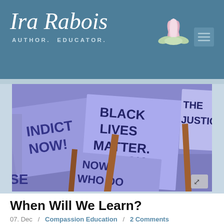Ira Rabois AUTHOR. EDUCATOR.
[Figure (photo): Protest signs on the ground showing text 'INDICT NOW!', 'BLACK LIVES MATTER. BLACK LIVES MATTER.', 'THE JUSTICE', 'NOW WHO DO YOU', 'SE' — purple/lavender colored signs with wooden stakes]
When Will We Learn?
07. Dec  /  Compassion Education  /  2 Comments